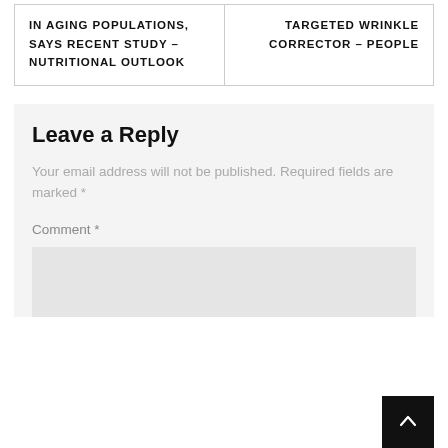IN AGING POPULATIONS, SAYS RECENT STUDY – NUTRITIONAL OUTLOOK
TARGETED WRINKLE CORRECTOR – PEOPLE
Leave a Reply
Your email address will not be published. Required fields are marked *
Comment *